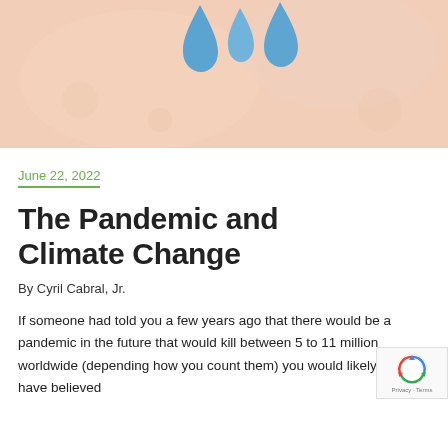[Figure (illustration): Partial illustration with blue teardrop/water drop shapes on a peach/salmon warm-toned background, appears to be a decorative hero image related to climate or environment.]
June 22, 2022
The Pandemic and Climate Change
By Cyril Cabral, Jr.
If someone had told you a few years ago that there would be a pandemic in the future that would kill between 5 to 11 million worldwide (depending how you count them) you would likely not have believed